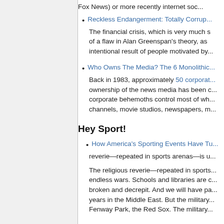Fox News) or more recently internet so...
Reckless Endangerment: Totally Corrup...
The financial crisis, which is very much s... of a flaw in Alan Greenspan's theory, as... intentional result of people motivated by...
Who Owns The Media? The 6 Monolithic...
Back in 1983, approximately 50 corporat... ownership of the news media has been c... corporate behemoths control most of wh... channels, movie studios, newspapers, m...
Hey Sport!
How America's Sporting Events Have Tu...
reverie—repeated in sports arenas—is u...
The religious reverie—repeated in sports... endless wars. Schools and libraries are ... broken and decrepit. And we will have pa... years in the Middle East. But the military... Fenway Park, the Red Sox. The military...